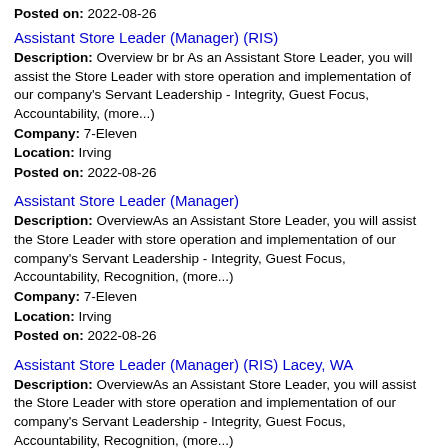Posted on: 2022-08-26
Assistant Store Leader (Manager) (RIS)
Description: Overview br br As an Assistant Store Leader, you will assist the Store Leader with store operation and implementation of our company's Servant Leadership - Integrity, Guest Focus, Accountability, (more...)
Company: 7-Eleven
Location: Irving
Posted on: 2022-08-26
Assistant Store Leader (Manager)
Description: OverviewAs an Assistant Store Leader, you will assist the Store Leader with store operation and implementation of our company's Servant Leadership - Integrity, Guest Focus, Accountability, Recognition, (more...)
Company: 7-Eleven
Location: Irving
Posted on: 2022-08-26
Assistant Store Leader (Manager) (RIS) Lacey, WA
Description: OverviewAs an Assistant Store Leader, you will assist the Store Leader with store operation and implementation of our company's Servant Leadership - Integrity, Guest Focus, Accountability, Recognition, (more...)
Company: 7-Eleven
Location: Irving
Posted on: 2022-08-26